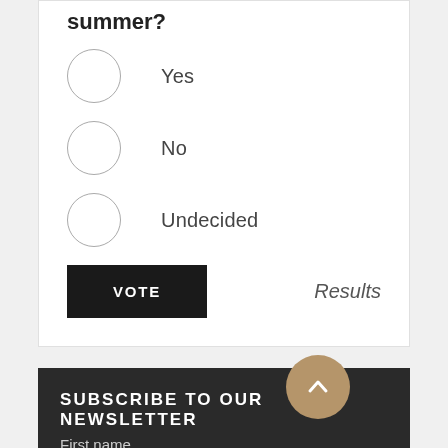summer?
Yes
No
Undecided
VOTE
Results
SUBSCRIBE TO OUR NEWSLETTER
First name